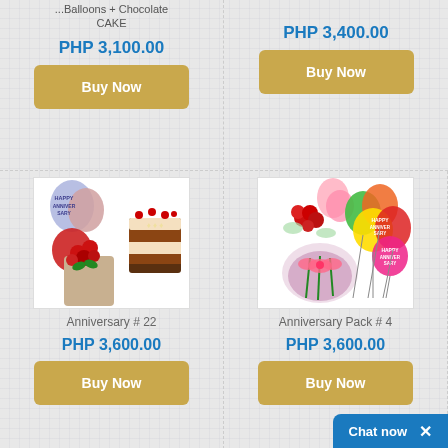... Balloons + Chocolate Cake
Anniversary # 21
PHP 3,100.00
PHP 3,400.00
Buy Now
Buy Now
[Figure (photo): Anniversary product #22: bouquet of red roses, celebration balloons, and chocolate cake with cherries]
[Figure (photo): Anniversary Pack #4: pink flower bouquet with colorful Happy Anniversary balloons]
Anniversary # 22
Anniversary Pack # 4
PHP 3,600.00
PHP 3,600.00
Buy Now
Buy Now
Chat now  ×